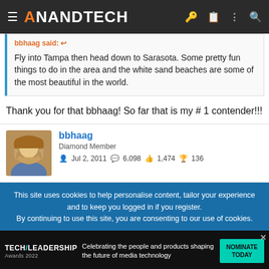AnandTech
bbhaag said:
Fly into Tampa then head down to Sarasota. Some pretty fun things to do in the area and the white sand beaches are some of the most beautiful in the world.
Thank you for that bbhaag! So far that is my # 1 contender!!!
bbhaag
Diamond Member
Jul 2, 2011  6,098  1,474  136
This site uses cookies to help personalise content, tailor your experience and to keep you logged in if you register.
By continuing to use this site, you are consenting to our use of cookies.
[Figure (screenshot): Tech Leadership Awards 2022 advertisement banner: Celebrating the people and products shaping the future of media technology. NOMINATE TODAY button.]